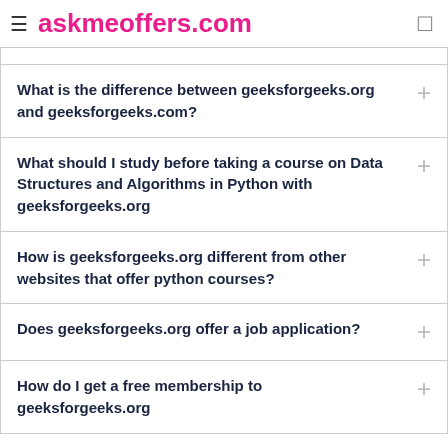askmeoffers.com
What is the difference between geeksforgeeks.org and geeksforgeeks.com?
What should I study before taking a course on Data Structures and Algorithms in Python with geeksforgeeks.org
How is geeksforgeeks.org different from other websites that offer python courses?
Does geeksforgeeks.org offer a job application?
How do I get a free membership to geeksforgeeks.org